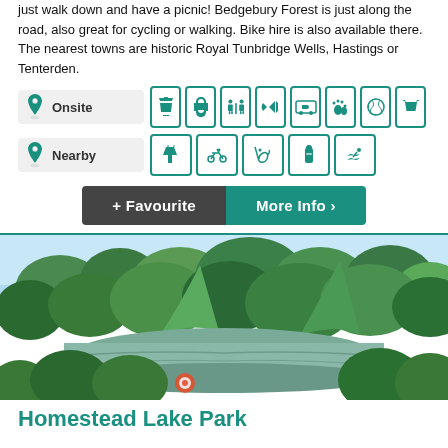just walk down and have a picnic! Bedgebury Forest is just along the road, also great for cycling or walking. Bike hire is also available there. The nearest towns are historic Royal Tunbridge Wells, Hastings or Tenterden.
[Figure (infographic): Onsite amenities icons row: BBQ, electric hookup, toilets/showers, hairdryer, car parking, pets, sports/football, basket. Nearby amenities icons row: drinks/bar, cycling, fishing, water bottle, swimming/pool.]
[Figure (photo): Scenic outdoor photo of Homestead Lake Park showing a calm lake surrounded by lush green trees under a blue sky, with a life ring visible near the water.]
Homestead Lake Park